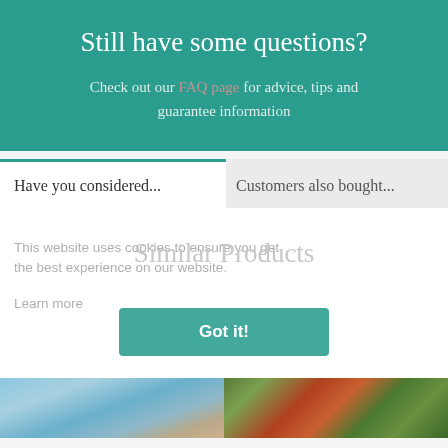Still have some questions?
Check out our FAQ page for advice, tips and guarantee information
Have you considered...
Customers also bought...
This website uses cookies to ensure you get the best experience on our website.
Learn more
Similar Products
[Figure (photo): Landscape photo showing water and mountains]
[Figure (photo): Garden or forest photo with tall structures and green foliage]